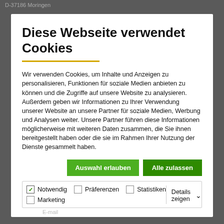D-37186 Moringen
Diese Webseite verwendet Cookies
Wir verwenden Cookies, um Inhalte und Anzeigen zu personalisieren, Funktionen für soziale Medien anbieten zu können und die Zugriffe auf unsere Website zu analysieren. Außerdem geben wir Informationen zu Ihrer Verwendung unserer Website an unsere Partner für soziale Medien, Werbung und Analysen weiter. Unsere Partner führen diese Informationen möglicherweise mit weiteren Daten zusammen, die Sie ihnen bereitgestellt haben oder die sie im Rahmen Ihrer Nutzung der Dienste gesammelt haben.
Auswahl erlauben
Alle zulassen
Notwendig
Präferenzen
Statistiken
Marketing
Details zeigen
E-mail